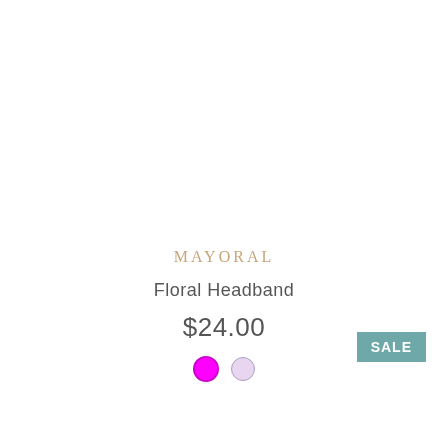MAYORAL
Floral Headband
$24.00
[Figure (illustration): Two color swatches: a magenta/pink filled circle with dark pink border, and a lavender/light purple circle with light purple border]
SALE